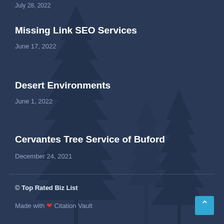Missing Link SEO Services
June 17, 2022
Desert Environments
June 1, 2022
Cervantes Tree Service of Buford
December 24, 2021
© Top Rated Biz List
Made with ♥ Citation Vault